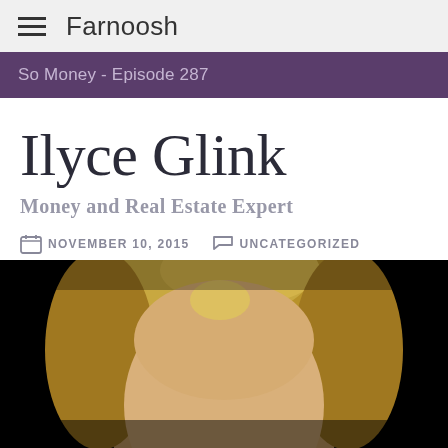Farnoosh
So Money - Episode 287
Ilyce Glink
Money and Real Estate Expert
NOVEMBER 10, 2015   UNCATEGORIZED
[Figure (photo): Headshot photo of Ilyce Glink, a blonde woman photographed against a black background, visible from approximately neck up.]